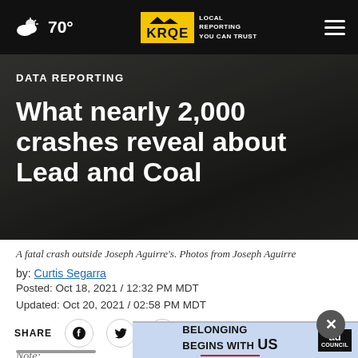70° | KRQE LOCAL REPORTING YOU CAN TRUST
DATA REPORTING
What nearly 2,000 crashes reveal about Lead and Coal
A fatal crash outside Joseph Aguirre's. Photos from Joseph Aguirre
by: Curtis Segarra
Posted: Oct 18, 2021 / 12:32 PM MDT
Updated: Oct 20, 2021 / 02:58 PM MDT
SHARE
[Figure (screenshot): Ad banner: BELONGING BEGINS WITH US, Ad Council logo]
Note: